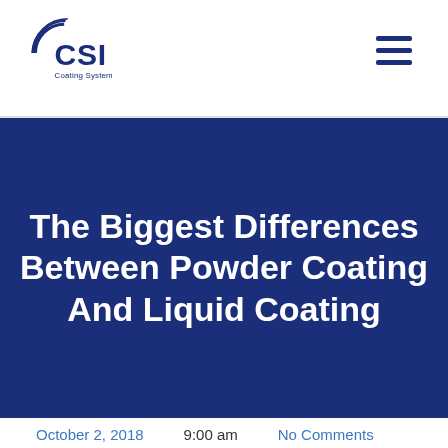CSI Coating Systems, Inc.
The Biggest Differences Between Powder Coating And Liquid Coating
October 2, 2018   9:00 am   No Comments
Powder Coating
coating systems, powder coating